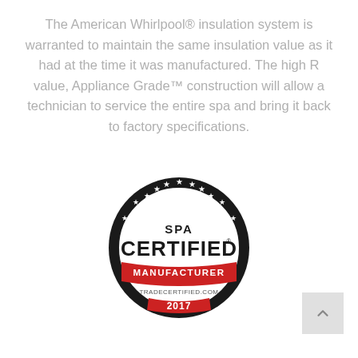The American Whirlpool® insulation system is warranted to maintain the same insulation value as it had at the time it was manufactured. The high R value, Appliance Grade™ construction will allow a technician to service the entire spa and bring it back to factory specifications.
[Figure (logo): SPA CERTIFIED MANUFACTURER badge - circular black border with stars, red banner reading MANUFACTURER, text TRADECERTIFIED.COM and year 2017]